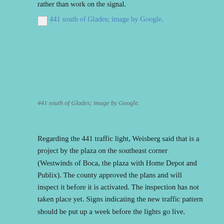rather than work on the signal.
[Figure (photo): 441 south of Glades; image by Google. Shown as a broken image placeholder with link text.]
441 south of Glades; image by Google.
Regarding the 441 traffic light, Weisberg said that is a project by the plaza on the southeast corner (Westwinds of Boca, the plaza with Home Depot and Publix). The county approved the plans and will inspect it before it is activated. The inspection has not taken place yet. Signs indicating the new traffic pattern should be put up a week before the lights go live.